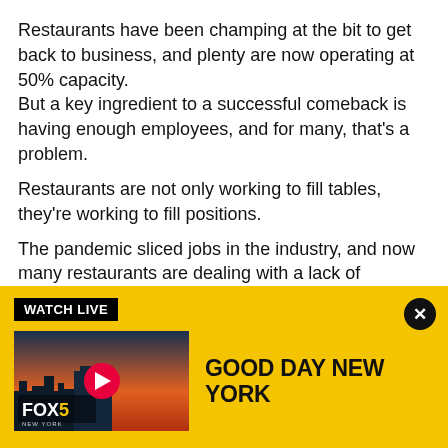Restaurants have been champing at the bit to get back to business, and plenty are now operating at 50% capacity. But a key ingredient to a successful comeback is having enough employees, and for many, that's a problem.
Restaurants are not only working to fill tables, they're working to fill positions.
The pandemic sliced jobs in the industry, and now many restaurants are dealing with a lack of employees.
[Figure (screenshot): Yellow banner with WATCH LIVE badge, FOX 5 New York thumbnail with play button, and GOOD DAY NEW YORK show title]